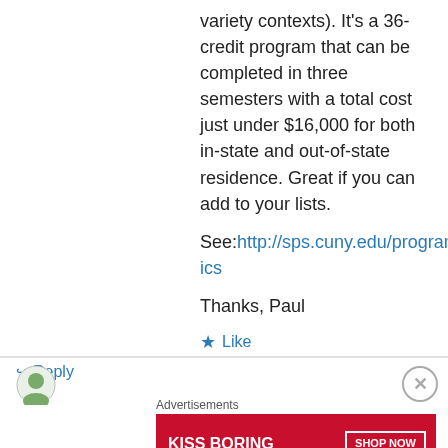variety contexts). It's a 36-credit program that can be completed in three semesters with a total cost just under $16,000 for both in-state and out-of-state residence. Great if you can add to your lists.
See: http://sps.cuny.edu/programs/ms_dataanalytics
Thanks, Paul
★ Like
↪ Reply
[Figure (other): Advertisement banner: KISS BORING LIPS GOODBYE - SHOP NOW - Macy's]
Advertisements